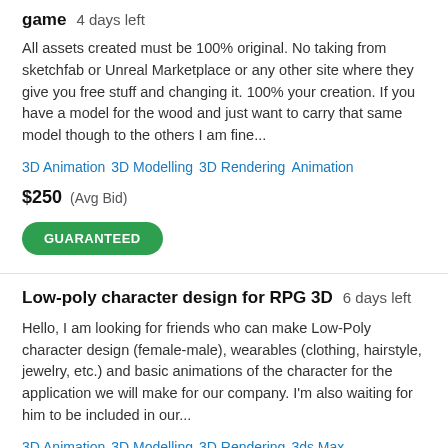game  4 days left
All assets created must be 100% original. No taking from sketchfab or Unreal Marketplace or any other site where they give you free stuff and changing it. 100% your creation. If you have a model for the wood and just want to carry that same model though to the others I am fine...
3D Animation   3D Modelling   3D Rendering   Animation
$250  (Avg Bid)
GUARANTEED
Low-poly character design for RPG 3D  6 days left
Hello, I am looking for friends who can make Low-Poly character design (female-male), wearables (clothing, hairstyle, jewelry, etc.) and basic animations of the character for the application we will make for our company. I'm also waiting for him to be included in our...
3D Animation   3D Modelling   3D Rendering   3ds Max